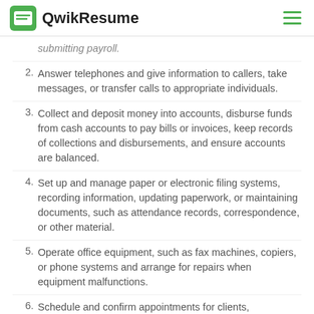QwikResume
submitting payroll.
Answer telephones and give information to callers, take messages, or transfer calls to appropriate individuals.
Collect and deposit money into accounts, disburse funds from cash accounts to pay bills or invoices, keep records of collections and disbursements, and ensure accounts are balanced.
Set up and manage paper or electronic filing systems, recording information, updating paperwork, or maintaining documents, such as attendance records, correspondence, or other material.
Operate office equipment, such as fax machines, copiers, or phone systems and arrange for repairs when equipment malfunctions.
Schedule and confirm appointments for clients, customers, or supervisors.
Locate and attach appropriate files to incoming